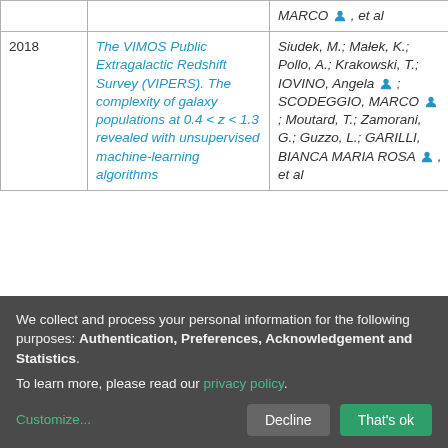| Year | Title | Authors | Access |
| --- | --- | --- | --- |
|  |  | MARCO 👤, et al |  |
| 2018 | The VIMOS Public Extragalactic Redshift Survey (VIPERS). The complexity of galaxy populations at 0.4 < z < 1.3 revealed with unsupervised machine-learning algorithms | Siudek, M.; Małek, K.; Pollo, A.; Krakowski, T.; IOVINO, Angela 👤; SCODEGGIO, MARCO 👤; Moutard, T.; Zamorani, G.; Guzzo, L.; GARILLI, BIANCA MARIA ROSA 👤, et al | open |
We collect and process your personal information for the following purposes: Authentication, Preferences, Acknowledgement and Statistics. To learn more, please read our privacy policy.
Customize... Decline That's ok